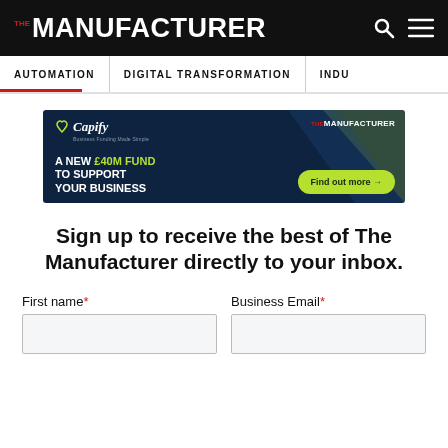THE MANUFACTURER
AUTOMATION | DIGITAL TRANSFORMATION | INDU…
[Figure (illustration): Capify advertisement banner on dark navy background. Left side: Capify logo with tagline 'Business Funding Made Simple', large bold text 'A NEW £40M FUND TO SUPPORT YOUR BUSINESS' with £40M in green/lime. Right side: The Manufacturer logo, green 'Find out more →' CTA button. Green diagonal accent triangle.]
Sign up to receive the best of The Manufacturer directly to your inbox.
First name*
Business Email*